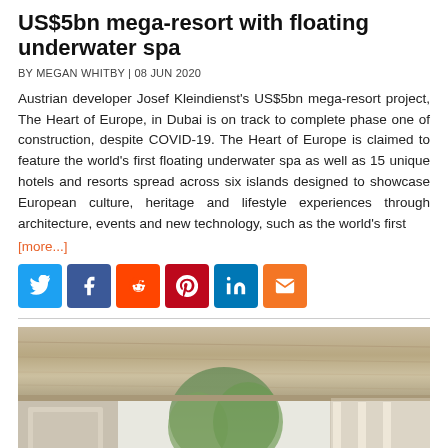US$5bn mega-resort with floating underwater spa
BY MEGAN WHITBY | 08 JUN 2020
Austrian developer Josef Kleindienst's US$5bn mega-resort project, The Heart of Europe, in Dubai is on track to complete phase one of construction, despite COVID-19. The Heart of Europe is claimed to feature the world's first floating underwater spa as well as 15 unique hotels and resorts spread across six islands designed to showcase European culture, heritage and lifestyle experiences through architecture, events and new technology, such as the world's first
[more...]
[Figure (other): Social sharing buttons: Twitter, Facebook, Reddit, Pinterest, LinkedIn, Email]
[Figure (photo): Interior architectural rendering showing a modern building with natural wood ceiling and large windows with trees visible outside]